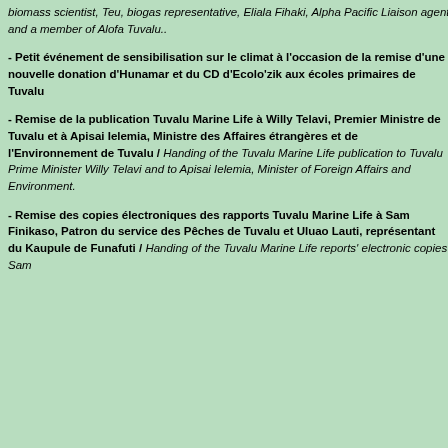biomass scientist, Teu, biogas representative, Eliala Fihaki, Alpha Pacific Liaison agent and a member of Alofa Tuvalu..
- Petit événement de sensibilisation sur le climat à l'occasion de la remise d'une nouvelle donation d'Hunamar et du CD d'Ecolo'zik aux écoles primaires de Tuvalu
- Remise de la publication Tuvalu Marine Life à Willy Telavi, Premier Ministre de Tuvalu et à Apisai Ielemia, Ministre des Affaires étrangères et de l'Environnement de Tuvalu / Handing of the Tuvalu Marine Life publication to Tuvalu Prime Minister Willy Telavi and to Apisai Ielemia, Minister of Foreign Affairs and Environment.
- Remise des copies électroniques des rapports Tuvalu Marine Life à Sam Finikaso, Patron du service des Pêches de Tuvalu et Uluao Lauti, représentant du Kaupule de Funafuti / Handing of the Tuvalu Marine Life reports' electronic copies Sam
Amongst contacts (other than the one Tuvalu, you may have seen our fr solutions) when they came over last Sep Switzerland landed to Funafuti. From and trustworthy impression. W be on location w
[Figure (photo): Photo of two people greeting or shaking hands in what appears to be an indoor setting]
Last but not l fans, working a chevalier in Fr who care for th
Aider Tuvalu à survivre, c'e Helping to save Tuvalu mean
L'actu des comptoirs arlésiens d
Une valeur sure et un coeur d'or, Line Laves Amis du sud courrez-y!
Hervé Schiavetti, Maire d'Arles Vice-Président du Conseil Général des Bouches-du-Rhône vous invitent à fêter le nouvel accroch
UNE SAISON
MELANIA MAMITIS PRENDA USEEMA